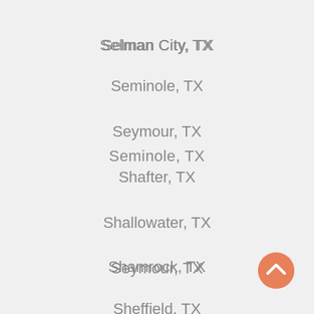Selman City, TX
Seminole, TX
Seymour, TX
Shafter, TX
Shallowater, TX
Shamrock, TX
Sheffield, TX